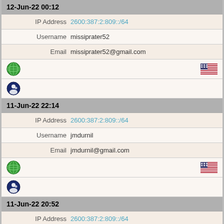| 12-Jun-22 00:12 |  |  |
| IP Address | 2600:387:2:809::/64 |  |
| Username | missiprater52 |  |
| Email | missiprater52@gmail.com |  |
| [globe icon] |  | [US flag] |
| [finger icon] |  |  |
| 11-Jun-22 22:14 |  |  |
| IP Address | 2600:387:2:809::/64 |  |
| Username | jmdurnil |  |
| Email | jmdurnil@gmail.com |  |
| [globe icon] |  | [US flag] |
| [finger icon] |  |  |
| 11-Jun-22 20:52 |  |  |
| IP Address | 2600:387:2:809::/64 |  |
| Username | edmarcus626 |  |
| Email | edmarcus626@gmail.com |  |
| [globe icon] |  | [US flag] |